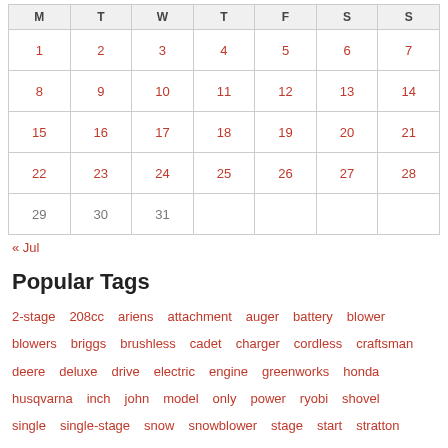| M | T | W | T | F | S | S |
| --- | --- | --- | --- | --- | --- | --- |
| 1 | 2 | 3 | 4 | 5 | 6 | 7 |
| 8 | 9 | 10 | 11 | 12 | 13 | 14 |
| 15 | 16 | 17 | 18 | 19 | 20 | 21 |
| 22 | 23 | 24 | 25 | 26 | 27 | 28 |
| 29 | 30 | 31 |  |  |  |  |
« Jul
Popular Tags
2-stage  208cc  ariens  attachment  auger  battery  blower  blowers  briggs  brushless  cadet  charger  cordless  craftsman  deere  deluxe  drive  electric  engine  greenworks  honda  husqvarna  inch  john  model  only  power  ryobi  shovel  single  single-stage  snow  snowblower  stage  start  stratton  tecumseh  thrower  tool